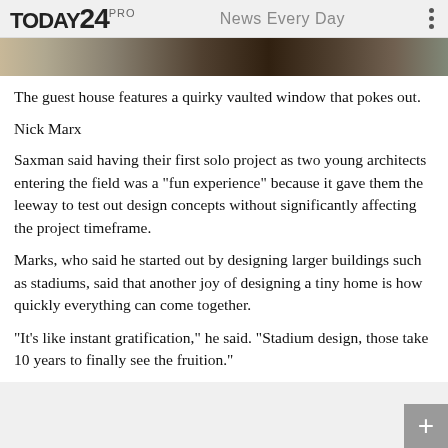TODAY24 PRO   News Every Day
[Figure (photo): Partial view of a building exterior with sandy/earthy textures and dark tones, cropped at top of content area]
The guest house features a quirky vaulted window that pokes out.
Nick Marx
Saxman said having their first solo project as two young architects entering the field was a "fun experience" because it gave them the leeway to test out design concepts without significantly affecting the project timeframe.
Marks, who said he started out by designing larger buildings such as stadiums, said that another joy of designing a tiny home is how quickly everything can come together.
"It's like instant gratification," he said. "Stadium design, those take 10 years to finally see the fruition."